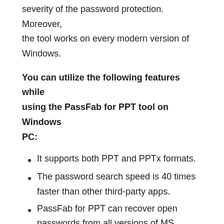severity of the password protection. Moreover, the tool works on every modern version of Windows.
You can utilize the following features while using the PassFab for PPT tool on Windows PC:
It supports both PPT and PPTx formats.
The password search speed is 40 times faster than other third-party apps.
PassFab for PPT can recover open passwords from all versions of MS Powerpoint.